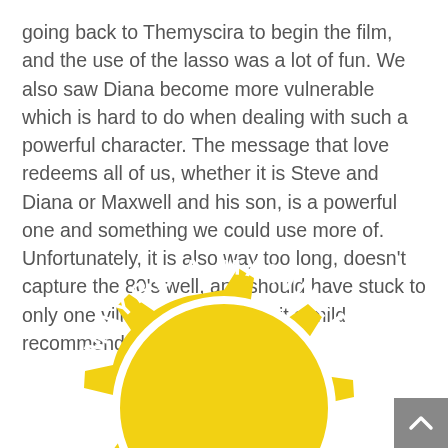going back to Themyscira to begin the film, and the use of the lasso was a lot of fun. We also saw Diana become more vulnerable which is hard to do when dealing with such a powerful character. The message that love redeems all of us, whether it is Steve and Diana or Maxwell and his son, is a powerful one and something we could use more of. Unfortunately, it is also way too long, doesn't capture the 80's well, and should have stuck to only one villain, but I still give it a mild recommendation.
[Figure (illustration): A yellow gear/badge shape partially visible at the bottom of the page with curved white text reading 'MAYBE A MATINEE' along an arc inside the badge.]